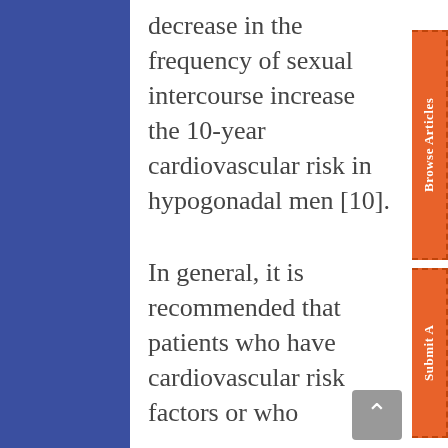decrease in the frequency of sexual intercourse increase the 10-year cardiovascular risk in hypogonadal men [10].
In general, it is recommended that patients who have cardiovascular risk factors or who